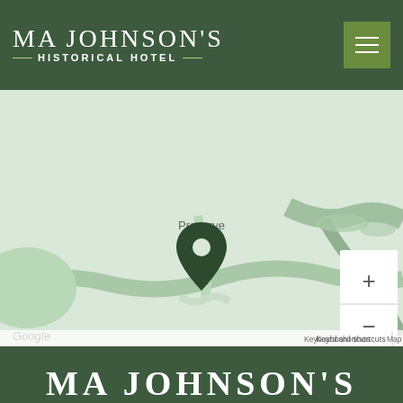MA JOHNSON'S HISTORICAL HOTEL
[Figure (map): Google map showing location of MA Johnson's Historical Hotel near a nature preserve, with a dark green map pin marker. Map includes roads and terrain. Labels: Preserve, Google, Keyboard shortcuts, Map data ©2022 Google, Terms of Use. Zoom +/- controls visible on right.]
MA JOHNSON'S HISTORICAL HOTEL
BOOK A ROOM
RESERVE DINNER